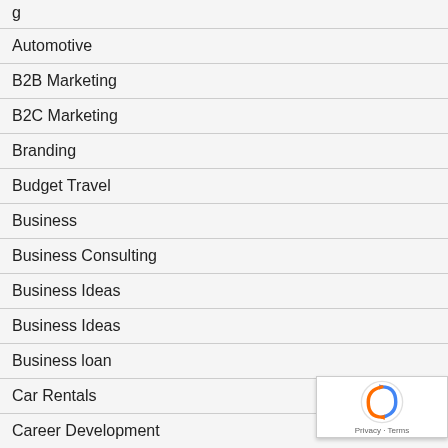Automotive
B2B Marketing
B2C Marketing
Branding
Budget Travel
Business
Business Consulting
Business Ideas
Business Ideas
Business loan
Car Rentals
Career Development
Digital Marketing